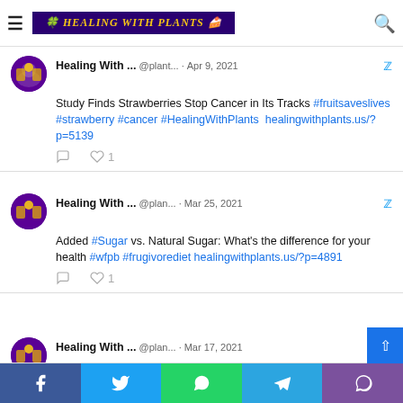Healing With Plants
Healing With ... @plant... · Apr 9, 2021
Study Finds Strawberries Stop Cancer in Its Tracks #fruitsaveslives #strawberry #cancer #HealingWithPlants healingwithplants.us/?p=5139
Healing With ... @plan... · Mar 25, 2021
Added #Sugar vs. Natural Sugar: What's the difference for your health #wfpb #frugivorediet healingwithplants.us/?p=4891
Healing With ... @plan... · Mar 17, 2021
Mint Smoothie Recipe #DrinkToYourHealth